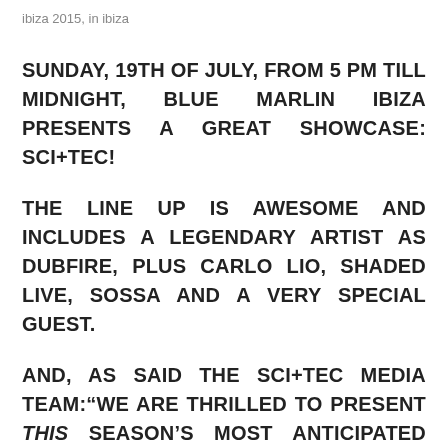ibiza 2015, in ibiza
SUNDAY, 19TH OF JULY, FROM 5 PM TILL MIDNIGHT, BLUE MARLIN IBIZA PRESENTS A GREAT SHOWCASE: SCI+TEC!
THE LINE UP IS AWESOME AND INCLUDES A LEGENDARY ARTIST AS DUBFIRE, PLUS CARLO LIO, SHADED LIVE, SOSSA AND A VERY SPECIAL GUEST.
AND, AS SAID THE SCI+TEC MEDIA TEAM:“WE ARE THRILLED TO PRESENT THIS SEASON’S MOST ANTICIPATED PARTY AT BLUE MARLIN. SURROUNDED BY IBIZA’S FAMILIAR FACES, FRIENDS AND